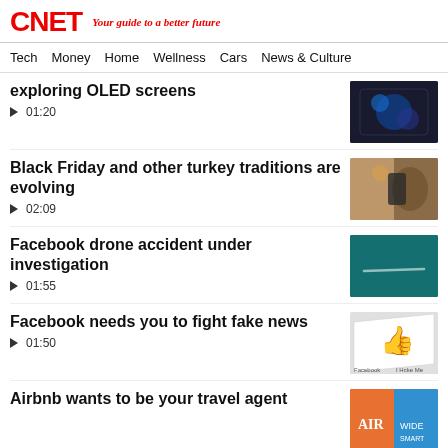CNET — Your guide to a better future
Tech   Money   Home   Wellness   Cars   News & Culture
exploring OLED screens
▶ 01:20
Black Friday and other turkey traditions are evolving
▶ 02:09
Facebook drone accident under investigation
▶ 01:55
Facebook needs you to fight fake news
▶ 01:50
Airbnb wants to be your travel agent